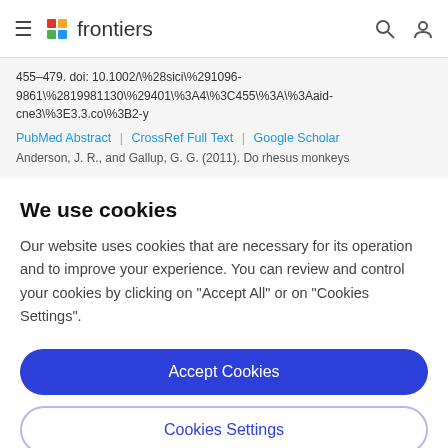frontiers
455–479. doi: 10.1002/\%28sici\%291096-9861\%2819981130\%29401\%3A4\%3C455\%3A\%3Aaid-cne3\%3E3.3.co\%3B2-y
PubMed Abstract | CrossRef Full Text | Google Scholar
Anderson, J. R., and Gallup, G. G. (2011). Do rhesus monkeys…
We use cookies
Our website uses cookies that are necessary for its operation and to improve your experience. You can review and control your cookies by clicking on "Accept All" or on "Cookies Settings".
Accept Cookies
Cookies Settings